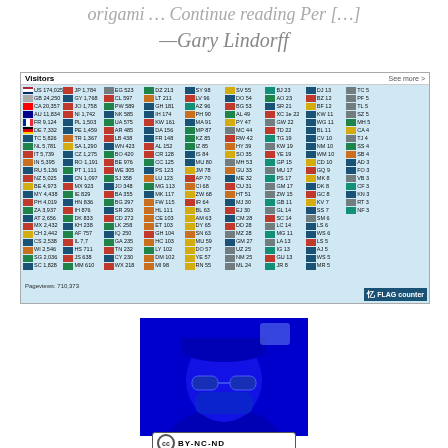origami … Continue reading Per […]
—Gary Lindorff
[Figure (screenshot): Flag Counter widget showing visitor statistics by country, with flags and visitor counts. Header shows 'Visitors' and 'See more'. Countries listed include US 174,025, GB 24,250, CA 20,357, AU 11,834, FR 9,124, DE 7,332, TC 5,826, NL 5,781, IT 5,739, IN 5,395 and many more. Pageviews: 710,373. Powered by FLAG counter.]
[Figure (photo): Blue-tinted photo of a person wearing a cap, sunglasses and face mask, heavily tinted in blue.]
[Figure (logo): Creative Commons BY-NC-ND license badge]